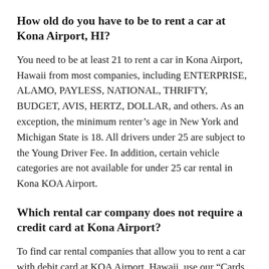How old do you have to be to rent a car at Kona Airport, HI?
You need to be at least 21 to rent a car in Kona Airport, Hawaii from most companies, including ENTERPRISE, ALAMO, PAYLESS, NATIONAL, THRIFTY, BUDGET, AVIS, HERTZ, DOLLAR, and others. As an exception, the minimum renter’s age in New York and Michigan State is 18. All drivers under 25 are subject to the Young Driver Fee. In addition, certain vehicle categories are not available for under 25 car rental in Kona KOA Airport.
Which rental car company does not require a credit card at Kona Airport?
To find car rental companies that allow you to rent a car with debit card at KOA Airport, Hawaii, use our “Cards Accepted At Pick-Up” filter. Check “Both Credit and Debit Cards”.
Please note that suppliers may apply additional requirements for those who pick up a car rental with a debit card. For example, you may need to provide extra forms of identification, utility